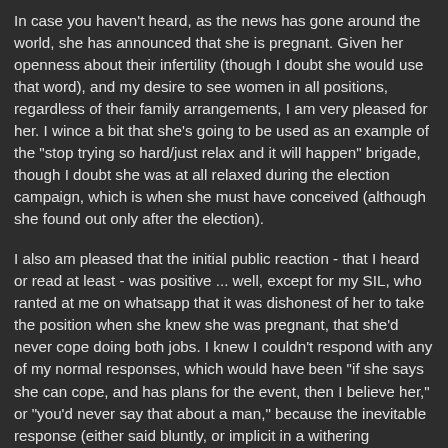In case you haven't heard, as the news has gone around the world, she has announced that she is pregnant. Given her openness about their infertility (though I doubt she would use that word), and my desire to see women in all positions, regardless of their family arrangements, I am very pleased for her. I wince a bit that she's going to be used as an example of the "stop trying so hard/just relax and it will happen" brigade, though I doubt she was at all relaxed during the election campaign, which is when she must have conceived (although she found out only after the election).
I also am pleased that the initial public reaction - that I heard or read at least - was positive ... well, except for my SIL, who ranted at me on whatsapp that it was dishonest of her to take the position when she knew she was pregnant, that she'd never cope doing both jobs. I knew I couldn't respond with any of my normal responses, which would have been "if she says she can cope, and has plans for the event, then I believe her," or "you'd never say that about a man," because the inevitable response (either said bluntly, or implicit in a withering comeback) would have been "you've never had a baby, so what would you know?"